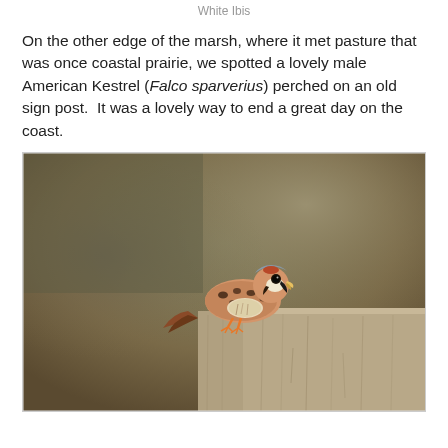White Ibis
On the other edge of the marsh, where it met pasture that was once coastal prairie, we spotted a lovely male American Kestrel (Falco sparverius) perched on an old sign post.  It was a lovely way to end a great day on the coast.
[Figure (photo): Photograph of a male American Kestrel (Falco sparverius) perched on top of a weathered wooden fence post or sign post. The bird has rufous/brown back with black spots, pale underparts, and orange feet. The background is a blurred warm olive-brown tone suggesting an open landscape.]